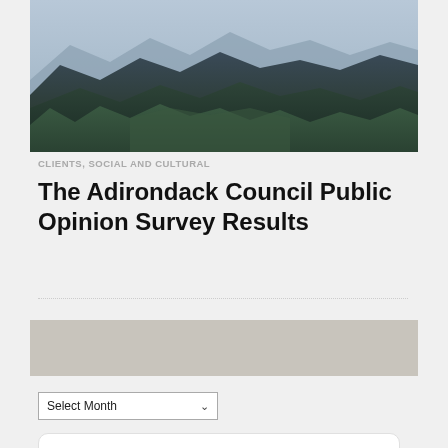[Figure (photo): Mountain landscape photograph showing blue-green forested mountain ridges receding into the distance, taken from a high elevation viewpoint, with sky at top]
CLIENTS, SOCIAL AND CULTURAL
The Adirondack Council Public Opinion Survey Results
ARCHIVES
Select Month
Tweets from @SienaResearch